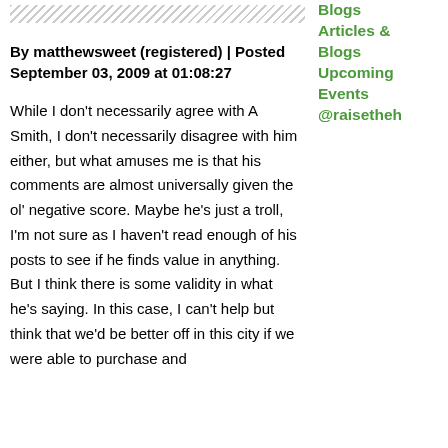By matthewsweet (registered) | Posted September 03, 2009 at 01:08:27
While I don't necessarily agree with A Smith, I don't necessarily disagree with him either, but what amuses me is that his comments are almost universally given the ol' negative score. Maybe he's just a troll, I'm not sure as I haven't read enough of his posts to see if he finds value in anything. But I think there is some validity in what he's saying. In this case, I can't help but think that we'd be better off in this city if we were able to purchase and
Blogs
Articles & Blogs
Upcoming Events
@raisetheh